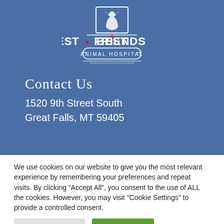[Figure (logo): Best Friends Animal Hospital logo with a cat/rabbit silhouette in a rectangle above the text. White logo on blue background.]
Contact Us
1520 9th Street South
Great Falls, MT 59405
We use cookies on our website to give you the most relevant experience by remembering your preferences and repeat visits. By clicking “Accept All”, you consent to the use of ALL the cookies. However, you may visit "Cookie Settings" to provide a controlled consent.
Cookie Settings | Accept All